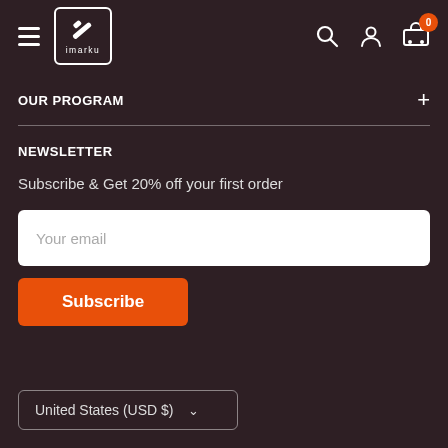imarku — navigation header with hamburger menu, logo, search, account, and cart icons
OUR PROGRAM
NEWSLETTER
Subscribe & Get 20% off your first order
Your email (input field)
Subscribe (button)
United States (USD $)